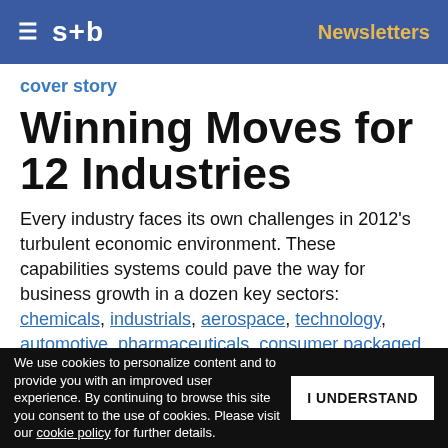s+b | Newsletters
cover story
Winning Moves for 12 Industries
Every industry faces its own challenges in 2012’s turbulent economic environment. These capabilities systems could pave the way for business growth in a dozen key sectors: chemicals, industrials, aerospace, technology, automotive, pharmaceuticals, consumer packaged goods, healthcare, telecom, retail, retail banking, wealth &
We use cookies to personalize content and to provide you with an improved user experience. By continuing to browse this site you consent to the use of cookies. Please visit our cookie policy for further details. | I UNDERSTAND